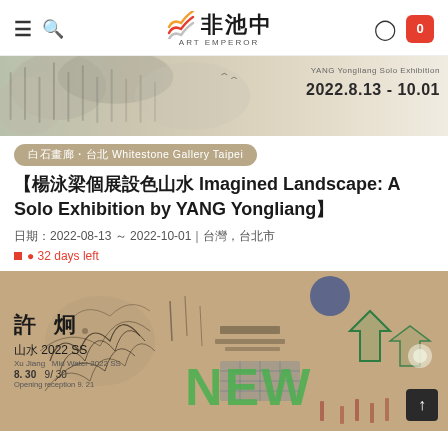非池中 ART EMPEROR
[Figure (photo): Banner image showing landscape painting with mountains and birds, YANG Yongliang Solo Exhibition 2022.8.13 - 10.01]
白石畫廊・台北 Whitestone Gallery Taipei
【楊泳梁個展設色山水 Imagined Landscape: A Solo Exhibition by YANG Yongliang】
日期：2022-08-13 ～ 2022-10-01｜台灣，台北市
32 days left
[Figure (photo): Artwork image showing 許炯 山水 2022 SS with abstract drawing on beige background, green NEW text overlay, dates 8.30 - 9.30]